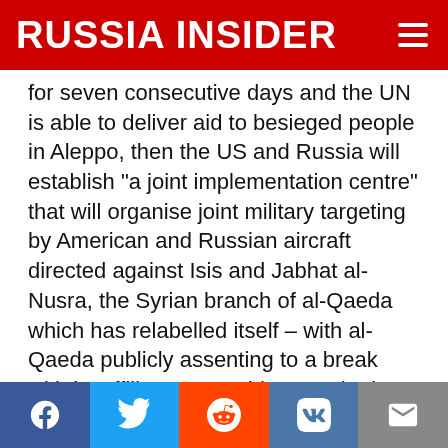RUSSIA INSIDER
for seven consecutive days and the UN is able to deliver aid to besieged people in Aleppo, then the US and Russia will establish “a joint implementation centre” that will organise joint military targeting by American and Russian aircraft directed against Isis and Jabhat al-Nusra, the Syrian branch of al-Qaeda which has relabelled itself – with al-Qaeda publicly assenting to a break with its affiliate – as Jabhat Fateh al-Sham.
For the US and Russia to plan and implement what may be a lengthy air campaign in Syria is perhaps the most striking aspect of the deal